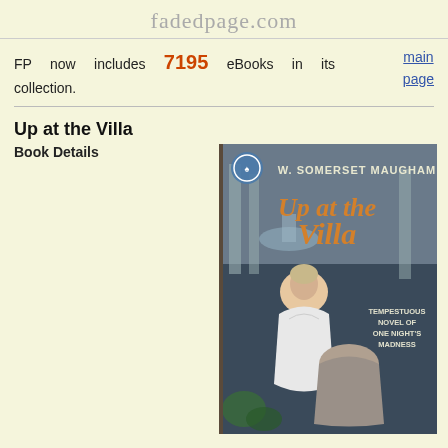fadedpage.com
FP now includes 7195 eBooks in its collection.
main page
Up at the Villa
Book Details
[Figure (illustration): Book cover of 'Up at the Villa' by W. Somerset Maugham, published paperback edition. Shows a woman in a white dress and a man, with the text 'Tempestuous Novel of One Night's Madness' on the cover.]